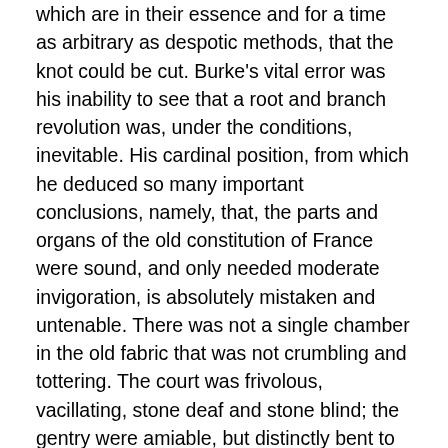which are in their essence and for a time as arbitrary as despotic methods, that the knot could be cut. Burke's vital error was his inability to see that a root and branch revolution was, under the conditions, inevitable. His cardinal position, from which he deduced so many important conclusions, namely, that, the parts and organs of the old constitution of France were sound, and only needed moderate invigoration, is absolutely mistaken and untenable. There was not a single chamber in the old fabric that was not crumbling and tottering. The court was frivolous, vacillating, stone deaf and stone blind; the gentry were amiable, but distinctly bent to the very last on holding to their privileges, and they were wholly devoid both of the political experience that only comes of practical responsibility for public affairs, and of the political sagacity that only comes of political experience. The parliaments or tribunals were nests of faction and of the deepest social incompetence. The very sword of the state broke short in